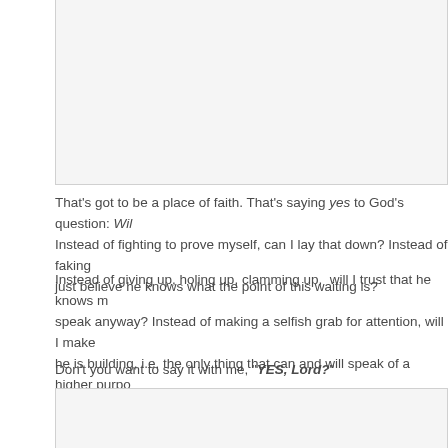[Figure (other): Empty light gray box at top of page, partially visible]
That's got to be a place of faith. That's saying yes to God's question: Will... Instead of fighting to prove myself, can I lay that down? Instead of faking... just believe he knows what the point of this waiting is?
Instead of giving up, holing up, clamming up, will I trust that he knows m... speak anyway? Instead of making a selfish grab for attention, will I make... he is building, i.e. the only thing that can and will speak of a higher purpo...
Don't you want to say it with me, "YES, Lord?"
[Figure (other): Empty light gray box at bottom of page, partially visible]